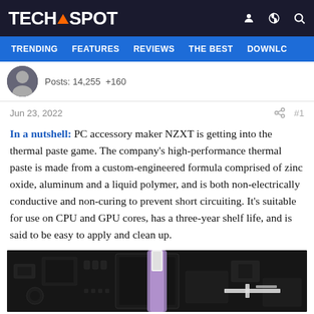TECHSPOT
TRENDING  FEATURES  REVIEWS  THE BEST  DOWNLO
Posts: 14,255  +160
Jun 23, 2022  #1
In a nutshell: PC accessory maker NZXT is getting into the thermal paste game. The company's high-performance thermal paste is made from a custom-engineered formula comprised of zinc oxide, aluminum and a liquid polymer, and is both non-electrically conductive and non-curing to prevent short circuiting. It's suitable for use on CPU and GPU cores, has a three-year shelf life, and is said to be easy to apply and clean up.
[Figure (photo): Close-up photo of a computer motherboard with a thermal paste applicator (syringe with white/purple tip) being applied to a CPU socket area. The image is in dark monochrome tones showing PCB components.]